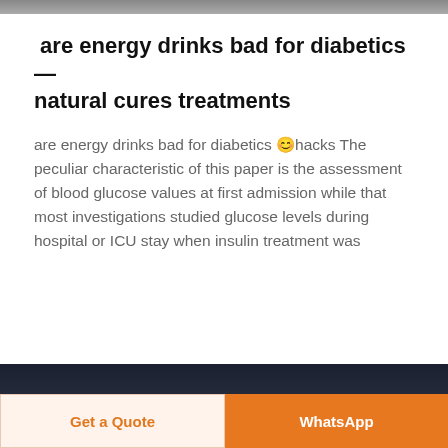are energy drinks bad for diabetics 🔗 natural cures treatments
are energy drinks bad for diabetics 😊hacks The peculiar characteristic of this paper is the assessment of blood glucose values at first admission while that most investigations studied glucose levels during hospital or ICU stay when insulin treatment was
Get a Quote | WhatsApp